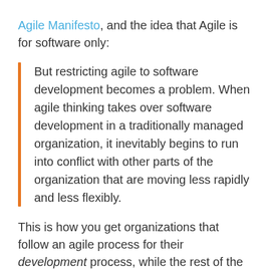Agile Manifesto, and the idea that Agile is for software only:
But restricting agile to software development becomes a problem. When agile thinking takes over software development in a traditionally managed organization, it inevitably begins to run into conflict with other parts of the organization that are moving less rapidly and less flexibly.
This is how you get organizations that follow an agile process for their development process, while the rest of the organization still operates in silos. Steve discusses many of the other misconceptions and problems with Agile in his